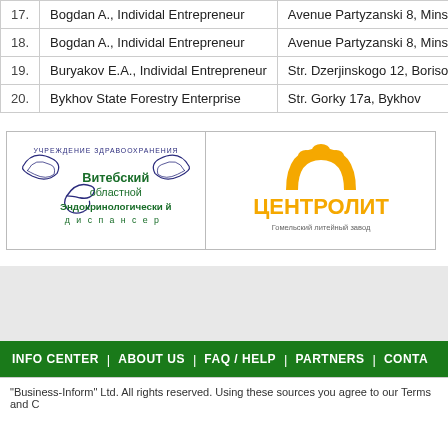| # | Name | Address |
| --- | --- | --- |
| 17. | Bogdan A., Individal Entrepreneur | Avenue Partyzanski 8, Minsk |
| 18. | Bogdan A., Individal Entrepreneur | Avenue Partyzanski 8, Minsk |
| 19. | Buryakov E.A., Individal Entrepreneur | Str. Dzerjinskogo 12, Borisov |
| 20. | Bykhov State Forestry Enterprise | Str. Gorky 17a, Bykhov |
[Figure (logo): Vitebsk Regional Endocrinological Dispensary logo with Cyrillic text and decorative elements]
[Figure (logo): Tsentrolit Gomel Foundry logo with orange text ЦЕНТРОЛИТ and subtitle in Cyrillic]
INFO CENTER | ABOUT US | FAQ / HELP | PARTNERS | CONTA...
"Business-Inform" Ltd. All rights reserved. Using these sources you agree to our Terms and C...